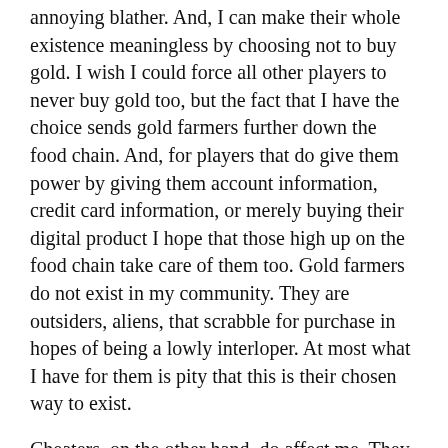annoying blather. And, I can make their whole existence meaningless by choosing not to buy gold. I wish I could force all other players to never buy gold too, but the fact that I have the choice sends gold farmers further down the food chain. And, for players that do give them power by giving them account information, credit card information, or merely buying their digital product I hope that those high up on the food chain take care of them too. Gold farmers do not exist in my community. They are outsiders, aliens, that scrabble for purchase in hopes of being a lowly interloper. At most what I have for them is pity that this is their chosen way to exist.
Cheaters, on the other hand, do affect me. They are part of the community. They do exist in pick-up-groups and random scenarios. And, I am powerless to let their actions touch me until I become